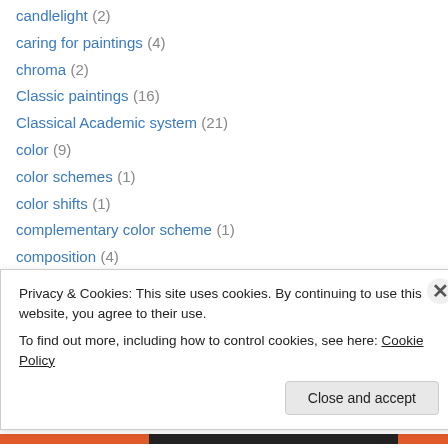candlelight (2)
caring for paintings (4)
chroma (2)
Classic paintings (16)
Classical Academic system (21)
color (9)
color schemes (1)
color shifts (1)
complementary color scheme (1)
composition (4)
copper paintings (3)
Covino Controlled Palette (7)
creativity (1)
design (1)
Privacy & Cookies: This site uses cookies. By continuing to use this website, you agree to their use. To find out more, including how to control cookies, see here: Cookie Policy
Close and accept